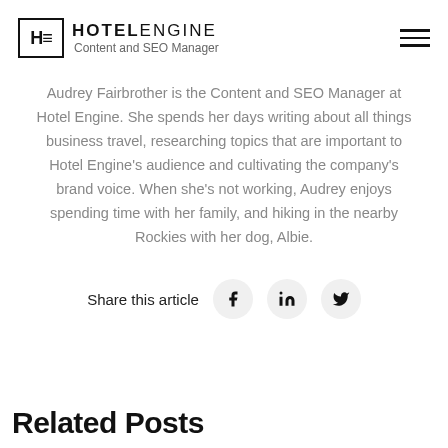HE HOTELENGINE Content and SEO Manager
Audrey Fairbrother is the Content and SEO Manager at Hotel Engine. She spends her days writing about all things business travel, researching topics that are important to Hotel Engine's audience and cultivating the company's brand voice. When she's not working, Audrey enjoys spending time with her family, and hiking in the nearby Rockies with her dog, Albie.
Share this article
Related Posts